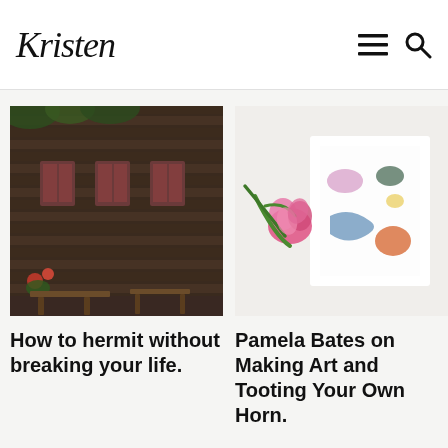Kristen
[Figure (photo): Dark wooden building exterior with red flowers and benches]
How to hermit without breaking your life.
[Figure (photo): Pink flowers with a white card/sketchbook showing colorful paint swatches on white background]
Pamela Bates on Making Art and Tooting Your Own Horn.